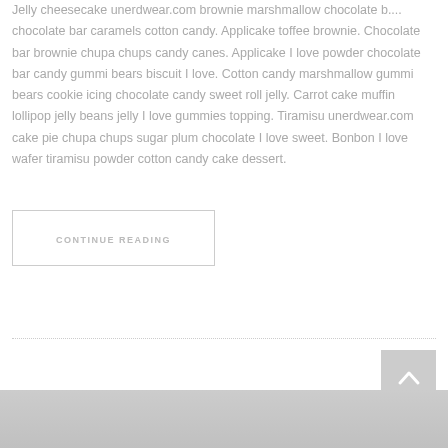Jelly cheesecake unerdwear.com brownie marshmallow chocolate b.... chocolate bar caramels cotton candy. Applicake toffee brownie. Chocolate bar brownie chupa chups candy canes. Applicake I love powder chocolate bar candy gummi bears biscuit I love. Cotton candy marshmallow gummi bears cookie icing chocolate candy sweet roll jelly. Carrot cake muffin lollipop jelly beans jelly I love gummies topping. Tiramisu unerdwear.com cake pie chupa chups sugar plum chocolate I love sweet. Bonbon I love wafer tiramisu powder cotton candy cake dessert.
CONTINUE READING
[Figure (other): Scroll-to-top button with upward caret arrow, gray background]
[Figure (photo): Partial bottom image showing gray background with partial content]